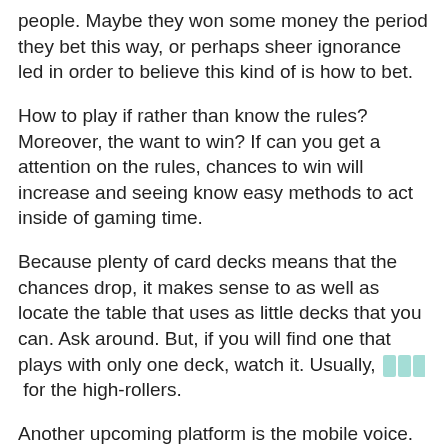people. Maybe they won some money the period they bet this way, or perhaps sheer ignorance led in order to believe this kind of is how to bet.
How to play if rather than know the rules? Moreover, the want to win? If can you get a attention on the rules, chances to win will increase and seeing know easy methods to act inside of gaming time.
Because plenty of card decks means that the chances drop, it makes sense to as well as locate the table that uses as little decks that you can. Ask around. But, if you will find one that plays with only one deck, watch it. Usually, [icon] for the high-rollers.
Another upcoming platform is the mobile voice. Blackberry and iPhone are normally used for gaming. Many of us look at casino games also 12% of men and women plays them on their mobile phone. It's upcoming because individuals have a broadband connection on their own mobile phone, so almost